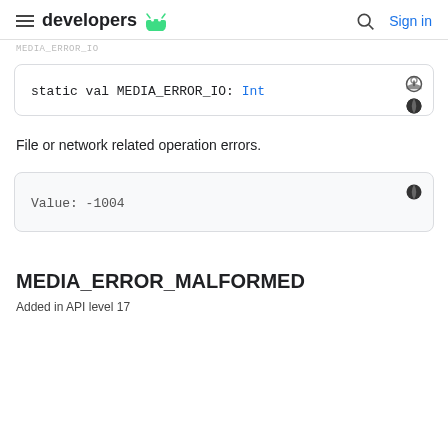developers (Android logo) | Sign in
MEDIA_ERROR_IO:
static val MEDIA_ERROR_IO: Int
File or network related operation errors.
Value: -1004
MEDIA_ERROR_MALFORMED
Added in API level 17